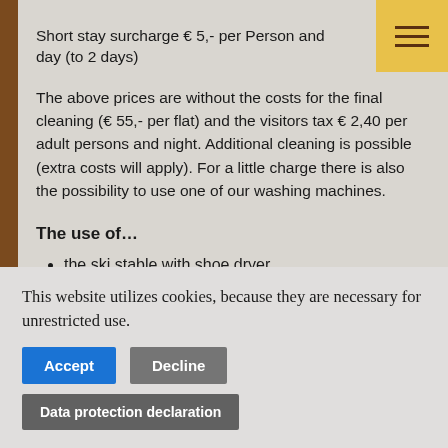Short stay surcharge € 5,- per Person and day (to 2 days)
The above prices are without the costs for the final cleaning (€ 55,- per flat) and the visitors tax € 2,40 per adult persons and night. Additional cleaning is possible (extra costs will apply). For a little charge there is also the possibility to use one of our washing machines.
The use of…
the ski stable with shoe dryer
Eisstock (curling)
the infrared cabin for your sense of well-being
free Wi-Fi in the whole house
table tennis
the house-own bicycles
the house-own rowing boats
This website utilizes cookies, because they are necessary for unrestricted use.
Accept
Decline
Data protection declaration